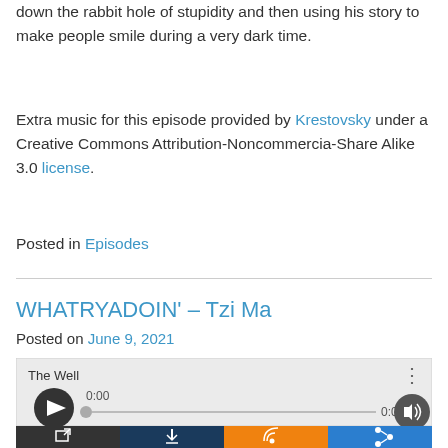down the rabbit hole of stupidity and then using his story to make people smile during a very dark time.
Extra music for this episode provided by Krestovsky under a Creative Commons Attribution-Noncommercia-Share Alike 3.0 license.
Posted in Episodes
WHATRYADOIN’ – Tzi Ma
Posted on June 9, 2021
[Figure (screenshot): Audio player widget showing 'The Well' with play button, 0:00 timestamp, progress bar, volume button, and bottom action bar with dark/navy/orange/blue buttons for external link, download, RSS, and share.]